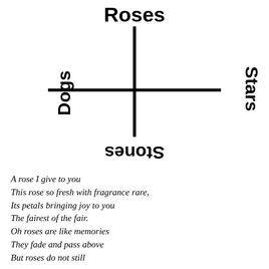[Figure (other): A cross/axis diagram with 'Roses' at top (bold), 'Dogs' on the left (bold, rotated), 'Stars' on the right (bold, rotated), and 'Stones' at the bottom (bold, upside down), connected by a bold plus/cross shape.]
A rose I give to you
This rose so fresh with fragrance rare,
Its petals bringing joy to you
The fairest of the fair.
Oh roses are like memories
They fade and pass above
But roses do not still leave us in...